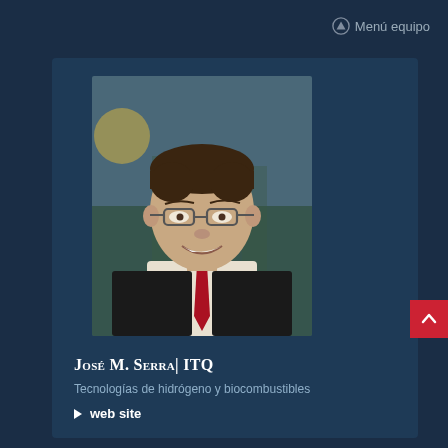⬆ Menú equipo
[Figure (photo): Headshot photo of José M. Serra, a man with glasses wearing a dark suit and red tie, smiling outdoors]
José M. Serra | ITQ
Tecnologías de hidrógeno y biocombustibles
▶ web site